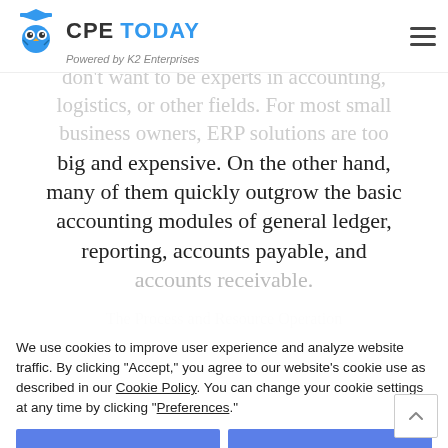CPE TODAY — Powered by K2 Enterprises
don't want to be experts in accounting, logistics, or other fields. For most small business owners, ERP solutions are too big and expensive. On the other hand, many of them quickly outgrow the basic accounting modules of general ledger, reporting, accounts payable, and accounts receivable.
The Process and Resource Operation
We use cookies to improve user experience and analyze website traffic. By clicking "Accept," you agree to our website's cookie use as described in our Cookie Policy. You can change your cookie settings at any time by clicking "Preferences."
complex needs such as inventory, costing, eCommerce, and multi-location operations. For example, each service truck can be treated as a location. PROP products provide more capabilities for small businesses than entry-level solutions but don't have as much